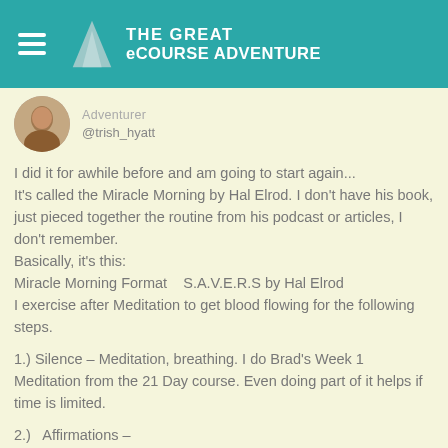THE GREAT eCOURSE ADVENTURE
Adventurer
@trish_hyatt
I did it for awhile before and am going to start again... It's called the Miracle Morning by Hal Elrod. I don't have his book, just pieced together the routine from his podcast or articles, I don't remember.
Basically, it's this:
Miracle Morning Format   S.A.V.E.R.S by Hal Elrod
I exercise after Meditation to get blood flowing for the following steps.
1.) Silence – Meditation, breathing. I do Brad's Week 1 Meditation from the 21 Day course. Even doing part of it helps if time is limited.
2.)  Affirmations –